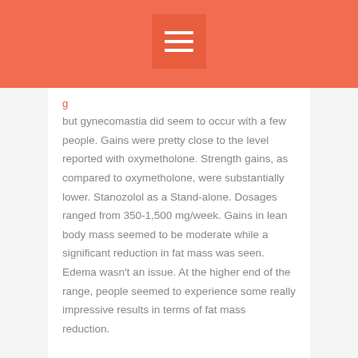but gynecomastia did seem to occur with a few people. Gains were pretty close to the level reported with oxymetholone. Strength gains, as compared to oxymetholone, were substantially lower. Stanozolol as a Stand-alone. Dosages ranged from 350-1,500 mg/week. Gains in lean body mass seemed to be moderate while a significant reduction in fat mass was seen. Edema wasn't an issue. At the higher end of the range, people seemed to experience some really impressive results in terms of fat mass reduction. Strength gains were also significant.